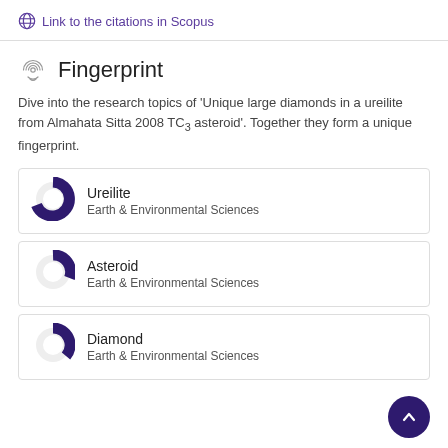Link to the citations in Scopus
Fingerprint
Dive into the research topics of 'Unique large diamonds in a ureilite from Almahata Sitta 2008 TC3 asteroid'. Together they form a unique fingerprint.
Ureilite
Earth & Environmental Sciences
Asteroid
Earth & Environmental Sciences
Diamond
Earth & Environmental Sciences